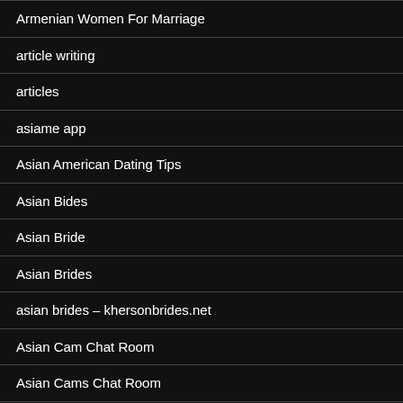Armenian Women For Marriage
article writing
articles
asiame app
Asian American Dating Tips
Asian Bides
Asian Bride
Asian Brides
asian brides – khersonbrides.net
Asian Cam Chat Room
Asian Cams Chat Room
Asian Dating
Asian Dating Usa